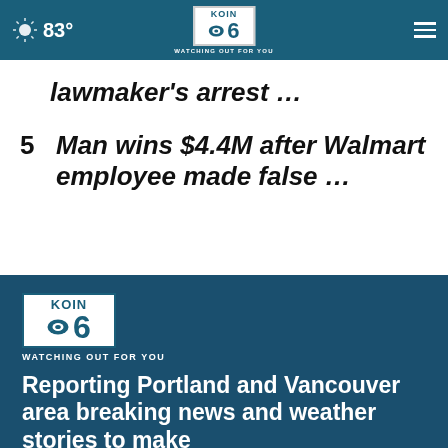83° KOIN 6 CBS WATCHING OUT FOR YOU
lawmaker's arrest …
5 Man wins $4.4M after Walmart employee made false …
[Figure (logo): KOIN 6 CBS logo with tagline WATCHING OUT FOR YOU on dark blue background]
Reporting Portland and Vancouver area breaking news and weather stories to make